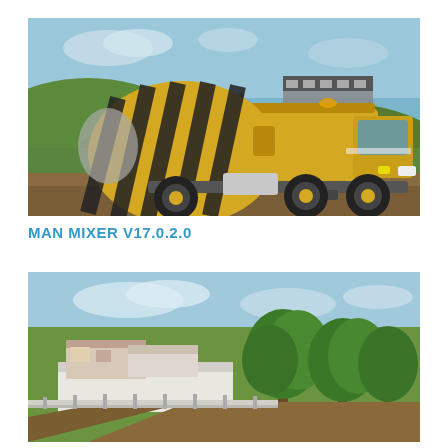[Figure (screenshot): Video game screenshot of a yellow MAN concrete mixer truck with black-striped rotating drum, parked on a dirt road with green hills and a building in the background.]
MAN MIXER V17.0.2.0
[Figure (screenshot): Video game screenshot of a rural farm scene with trees, a white building compound, and a dirt road in the foreground under a blue sky.]